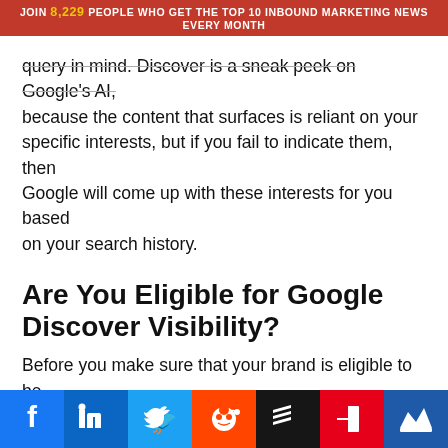JOIN 8,229 PEOPLE WHO GET THE TOP 10 INBOUND MARKETING NEWS EVERY MONTH
query in mind. Discover is a sneak peek on Google's AI, because the content that surfaces is reliant on your specific interests, but if you fail to indicate them, then Google will come up with these interests for you based on your search history.
Are You Eligible for Google Discover Visibility?
Before you make sure that your brand is eligible to be discovered in Google's feed, your website must be verified and indexed in Google Search Console and your content passes the Google News standards. With regards to the latter, it is already a widespread knowledge that evergreen content takes the cake in